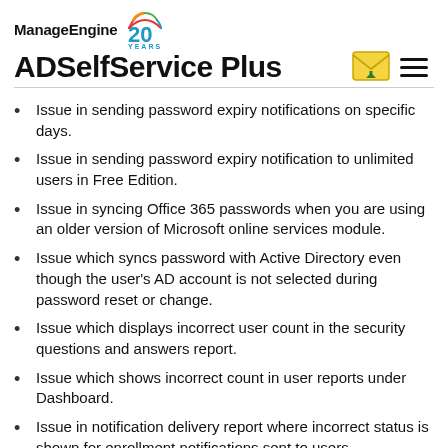ManageEngine 20 YEARS ADSelfService Plus
Issue in sending password expiry notifications on specific days.
Issue in sending password expiry notification to unlimited users in Free Edition.
Issue in syncing Office 365 passwords when you are using an older version of Microsoft online services module.
Issue which syncs password with Active Directory even though the user's AD account is not selected during password reset or change.
Issue which displays incorrect user count in the security questions and answers report.
Issue which shows incorrect count in user reports under Dashboard.
Issue in notification delivery report where incorrect status is shown for enrollment notifications sent to users.